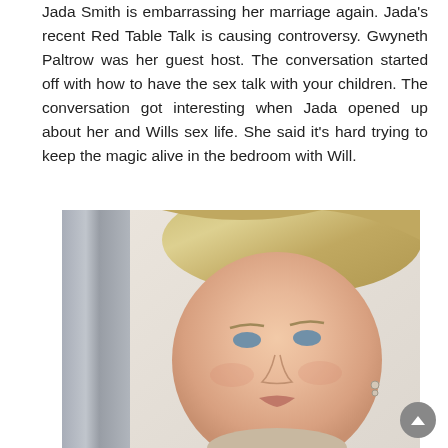Jada Smith is embarrassing her marriage again. Jada's recent Red Table Talk is causing controversy. Gwyneth Paltrow was her guest host. The conversation started off with how to have the sex talk with your children. The conversation got interesting when Jada opened up about her and Wills sex life. She said it's hard trying to keep the magic alive in the bedroom with Will.
[Figure (photo): Close-up photo of Gwyneth Paltrow with blonde hair pulled back, wearing small earrings, against a light wall with a metallic panel/door visible on the left side.]